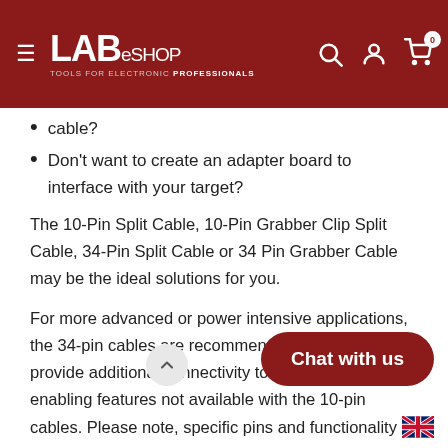LABeSHOP — TOOLS FOR ELECTRONIC PROFESSIONALS
cable?
Don't want to create an adapter board to interface with your target?
The 10-Pin Split Cable, 10-Pin Grabber Clip Split Cable, 34-Pin Split Cable or 34 Pin Grabber Cable may be the ideal solutions for you.
For more advanced or power intensive applications, the 34-pin cables are recommended because they provide additional connectivity to your project, enabling features not available with the 10-pin cables. Please note, specific pins and f[unctionality]... determined by the appli[cation and] your Promira Serial Platform.